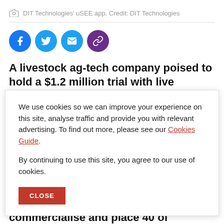DIT Technologies' uSEE app. Credit: DIT Technologies
[Figure (infographic): Social media share icons: Facebook, Twitter, Email, Link]
A livestock ag-tech company poised to hold a $1.2 million trial with live exporter Wellard before COVID
We use cookies so we can improve your experience on this site, analyse traffic and provide you with relevant advertising. To find out more, please see our Cookies Guide. By continuing to use this site, you agree to our use of cookies.
The business planned to commercialise and place 40 of